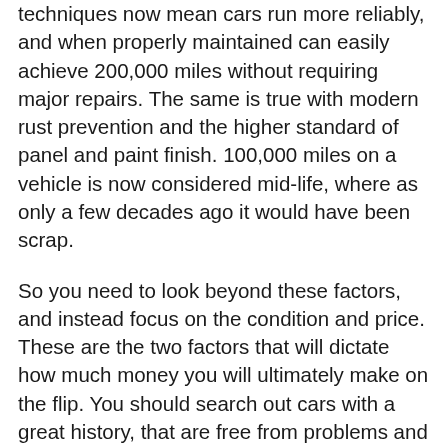techniques now mean cars run more reliably, and when properly maintained can easily achieve 200,000 miles without requiring major repairs. The same is true with modern rust prevention and the higher standard of panel and paint finish. 100,000 miles on a vehicle is now considered mid-life, where as only a few decades ago it would have been scrap.
So you need to look beyond these factors, and instead focus on the condition and price. These are the two factors that will dictate how much money you will ultimately make on the flip. You should search out cars with a great history, that are free from problems and cheap. These are the cars you want to be buying to flip.